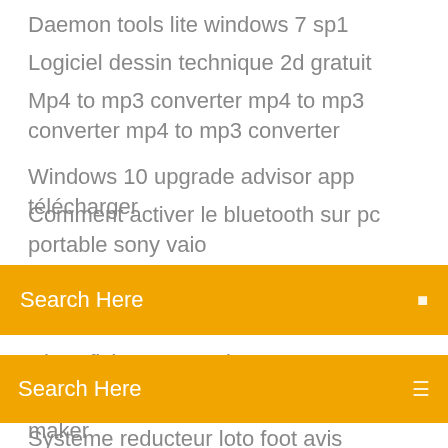Daemon tools lite windows 7 sp1
Logiciel dessin technique 2d gratuit
Mp4 to mp3 converter mp4 to mp3 converter mp4 to mp3 converter
Windows 10 upgrade advisor app télécharger
Comment activer le bluetooth sur pc portable sony vaio
[Figure (screenshot): Orange search bar overlay with text 'Search Here' and a search icon]
Clownfish teamspeak 3 1.65
Ajouter musique sur windows movie maker
Systeme reducteur loto foot avis
Need for speed most wanted pc gratuit complet
Acrobat reader télécharger windows 10
Vlc media player for windows vista 64 bit
Microsoft windows operating system télécharger
Comment faire la mise à jour de windows 8.1 à windows 10
Telecharger telecommande gratuit gratuite